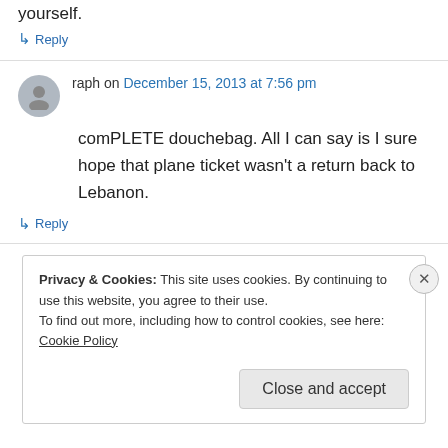yourself.
↳ Reply
raph on December 15, 2013 at 7:56 pm
comPLETE douchebag. All I can say is I sure hope that plane ticket wasn't a return back to Lebanon.
↳ Reply
Privacy & Cookies: This site uses cookies. By continuing to use this website, you agree to their use.
To find out more, including how to control cookies, see here: Cookie Policy
Close and accept